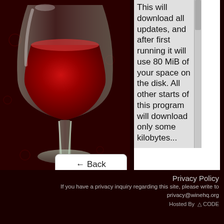[Figure (illustration): Wine glass illustration with red wine on dark red background with subtle bubble/circle decorations]
This will download all updates, and after first running it will use 80 MiB of your space on the disk. All other starts of this program will download only some kilobytes...
← Back
Privacy Policy
If you have a privacy inquiry regarding this site, please write to privacy@winehq.org
Hosted By CODE